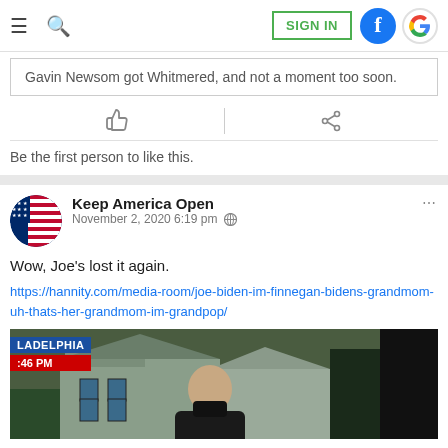SIGN IN [navigation bar with hamburger, search, Facebook and Google icons]
Gavin Newsom got Whitmered, and not a moment too soon.
Be the first person to like this.
Keep America Open
November 2, 2020 6:19 pm
Wow, Joe's lost it again.
https://hannity.com/media-room/joe-biden-im-finnegan-bidens-grandmom-uh-thats-her-grandmom-im-grandpop/
[Figure (screenshot): Video thumbnail showing a man in a black mask outdoors, with TV broadcast lower-third overlays reading 'LADELPHIA' and '46 PM', set against a residential background.]